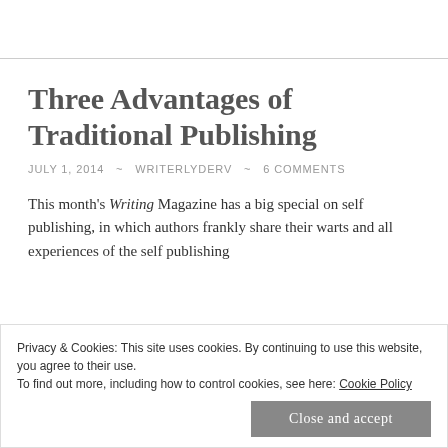Three Advantages of Traditional Publishing
JULY 1, 2014  ~  WRITERLYDERV  ~  6 COMMENTS
This month's Writing Magazine has a big special on self publishing, in which authors frankly share their warts and all experiences of the self publishing
Privacy & Cookies: This site uses cookies. By continuing to use this website, you agree to their use.
To find out more, including how to control cookies, see here: Cookie Policy
Close and accept
easier to put your writing out into the world, and